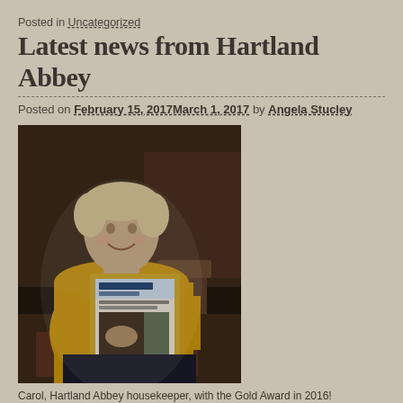Posted in Uncategorized
Latest news from Hartland Abbey
Posted on February 15, 2017March 1, 2017 by Angela Stucley
[Figure (photo): Woman (Carol, Hartland Abbey housekeeper) smiling and holding a framed award certificate from a journal, inside a dimly lit historic room.]
Carol, Hartland Abbey housekeeper, with the Gold Award in 2016!